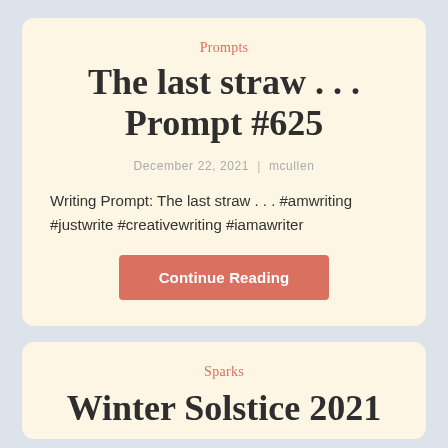Prompts
The last straw . . . Prompt #625
December 22, 2021  |  mcullen
Writing Prompt: The last straw . . . #amwriting #justwrite #creativewriting #iamawriter
Continue Reading
Sparks
Winter Solstice 2021